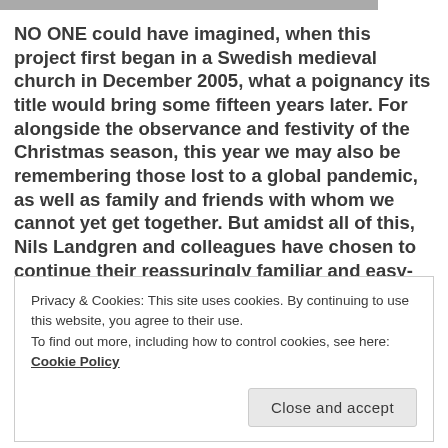[Figure (photo): Partial black and white photo strip at top of page]
NO ONE could have imagined, when this project first began in a Swedish medieval church in December 2005, what a poignancy its title would bring some fifteen years later. For alongside the observance and festivity of the Christmas season, this year we may also be remembering those lost to a global pandemic, as well as family and friends with whom we cannot yet get together. But amidst all of this, Nils Landgren and colleagues have chosen to continue their reassuringly familiar and easy-going brand of schmaltz, tenderness, joy and reflection in
Privacy & Cookies: This site uses cookies. By continuing to use this website, you agree to their use.
To find out more, including how to control cookies, see here: Cookie Policy
Close and accept